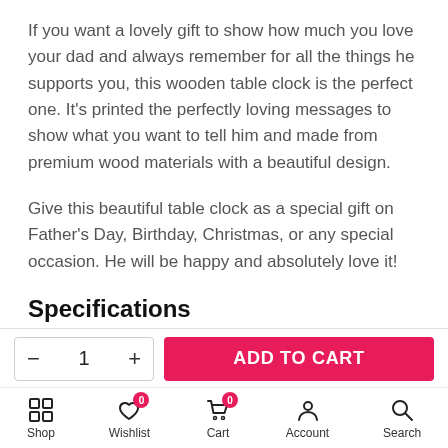If you want a lovely gift to show how much you love your dad and always remember for all the things he supports you, this wooden table clock is the perfect one. It's printed the perfectly loving messages to show what you want to tell him and made from premium wood materials with a beautiful design.
Give this beautiful table clock as a special gift on Father's Day, Birthday, Christmas, or any special occasion. He will be happy and absolutely love it!
Specifications
- 1 + ADD TO CART
Shop | Wishlist 0 | Cart 0 | Account | Search